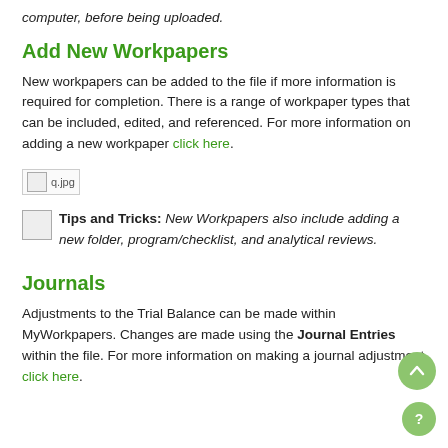computer, before being uploaded.
Add New Workpapers
New workpapers can be added to the file if more information is required for completion. There is a range of workpaper types that can be included, edited, and referenced. For more information on adding a new workpaper click here.
[Figure (other): Image placeholder showing q.jpg filename with broken image icon]
Tips and Tricks: New Workpapers also include adding a new folder, program/checklist, and analytical reviews.
Journals
Adjustments to the Trial Balance can be made within MyWorkpapers. Changes are made using the Journal Entries within the file. For more information on making a journal adjustment click here.